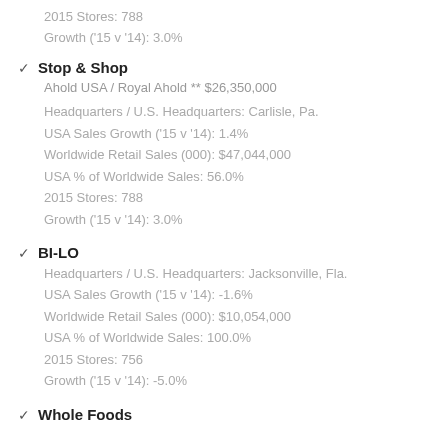2015 Stores: 788
Growth ('15 v '14): 3.0%
Stop & Shop
Ahold USA / Royal Ahold ** $26,350,000
Headquarters / U.S. Headquarters: Carlisle, Pa.
USA Sales Growth ('15 v '14): 1.4%
Worldwide Retail Sales (000): $47,044,000
USA % of Worldwide Sales: 56.0%
2015 Stores: 788
Growth ('15 v '14): 3.0%
BI-LO
Headquarters / U.S. Headquarters: Jacksonville, Fla.
USA Sales Growth ('15 v '14): -1.6%
Worldwide Retail Sales (000): $10,054,000
USA % of Worldwide Sales: 100.0%
2015 Stores: 756
Growth ('15 v '14): -5.0%
Whole Foods